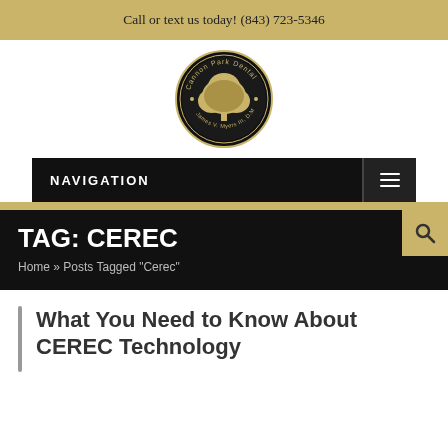Call or text us today! (843) 723-5346
[Figure (logo): Cannon Park Dental circular logo with golden tree illustration and text 'James V. Myers III, D.M.D.']
NAVIGATION
TAG: CEREC
Home » Posts Tagged "Cerec"
What You Need to Know About CEREC Technology